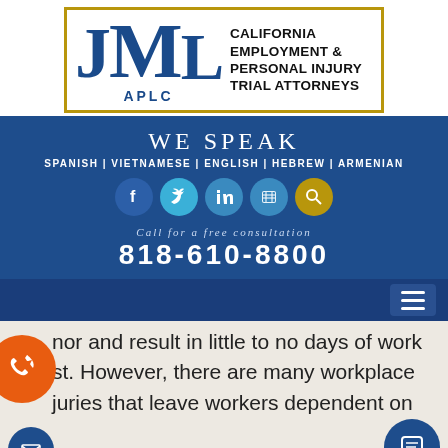[Figure (logo): JML APLC logo — California Employment & Personal Injury Trial Attorneys law firm logo with blue serif JML letters inside a gold border]
WE SPEAK
SPANISH | VIETNAMESE | ENGLISH | HEBREW | ARMENIAN
[Figure (infographic): Row of 5 social media icon circles: Facebook, Twitter, LinkedIn, YouTube/App, Search]
Call for a free consultation
818-610-8800
[Figure (infographic): Navigation hamburger menu icon on dark blue bar]
nor and result in little to no days of work
st. However, there are many workplace
juries that leave workers dependent on